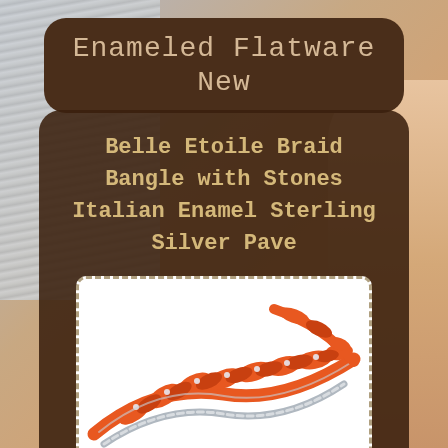Enameled Flatware New
Belle Etoile Braid Bangle with Stones Italian Enamel Sterling Silver Pave
[Figure (photo): A Belle Etoile Braid Bangle bracelet with orange Italian enamel in a braided pattern with pave stones on a sterling silver base, shown close-up against a white background.]